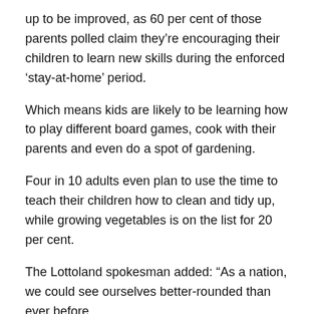up to be improved, as 60 per cent of those parents polled claim they're encouraging their children to learn new skills during the enforced 'stay-at-home' period.
Which means kids are likely to be learning how to play different board games, cook with their parents and even do a spot of gardening.
Four in 10 adults even plan to use the time to teach their children how to clean and tidy up, while growing vegetables is on the list for 20 per cent.
The Lottoland spokesman added: “As a nation, we could see ourselves better-rounded than ever before.
“While Brits are determined to make the most of their time behind closed doors it seems they're still on the move.
“Whether you're embarking on a baking fail or attacking